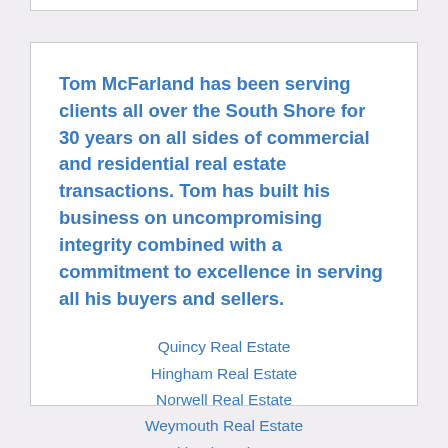Tom McFarland has been serving clients all over the South Shore for 30 years on all sides of commercial and residential real estate transactions. Tom has built his business on uncompromising integrity combined with a commitment to excellence in serving all his buyers and sellers.
Quincy Real Estate
Hingham Real Estate
Norwell Real Estate
Weymouth Real Estate
Rockland Real Estate